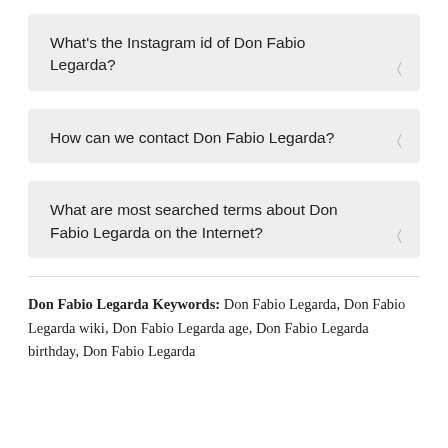What's the Instagram id of Don Fabio Legarda?
How can we contact Don Fabio Legarda?
What are most searched terms about Don Fabio Legarda on the Internet?
Don Fabio Legarda Keywords: Don Fabio Legarda, Don Fabio Legarda wiki, Don Fabio Legarda age, Don Fabio Legarda birthday, Don Fabio Legarda